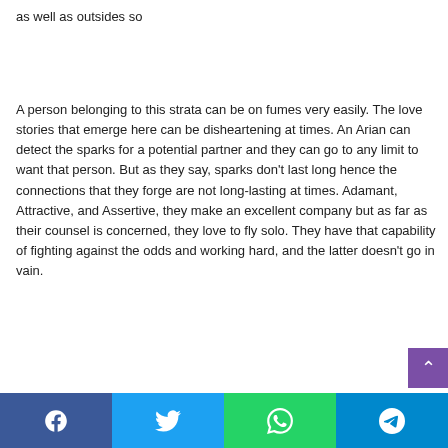as well as outsides so
A person belonging to this strata can be on fumes very easily. The love stories that emerge here can be disheartening at times. An Arian can detect the sparks for a potential partner and they can go to any limit to want that person. But as they say, sparks don't last long hence the connections that they forge are not long-lasting at times. Adamant, Attractive, and Assertive, they make an excellent company but as far as their counsel is concerned, they love to fly solo. They have that capability of fighting against the odds and working hard, and the latter doesn't go in vain.
[Figure (other): Purple scroll-to-top button with upward arrow chevron]
[Figure (other): Social share bar with four buttons: Facebook (blue), Twitter (light blue), WhatsApp (green), Telegram (teal)]